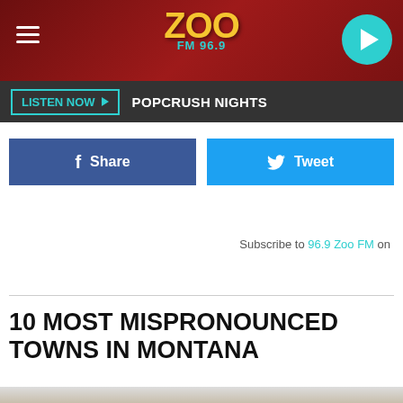ZOO FM 96.9
LISTEN NOW ▶ POPCRUSH NIGHTS
f Share
Tweet
Subscribe to 96.9 Zoo FM on
10 MOST MISPRONOUNCED TOWNS IN MONTANA
[Figure (photo): Bottom edge of a photo showing a person outdoors]